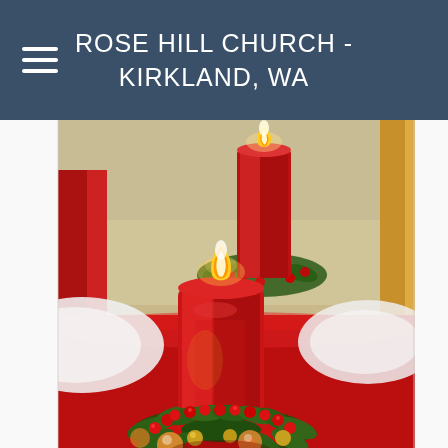ROSE HILL CHURCH - KIRKLAND, WA
[Figure (photo): Christmas table setting with a large red pillar candle in a holly wreath centerpiece in the foreground, a second red candle lit in the background, red tablecloth, white plates on either side, warm holiday decor.]